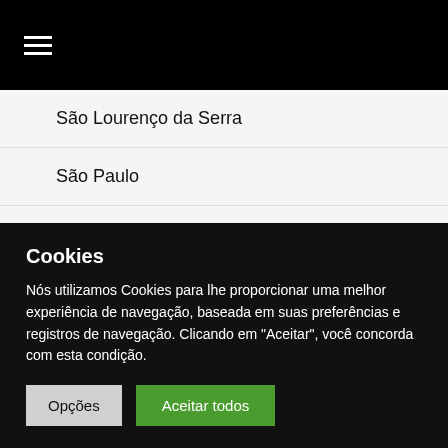☰
São Lourenço da Serra
São Paulo
Sem categoria
Sorocaba e Região
Sumaré
Cookies
Nós utilizamos Cookies para lhe proporcionar uma melhor experiência de navegação, baseada em suas preferências e registros de navegação. Clicando em "Aceitar", você concorda com esta condição.
Opções | Aceitar todos